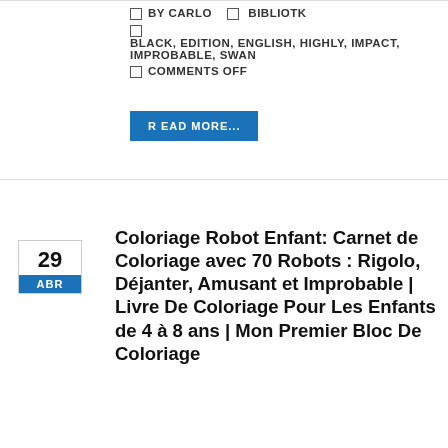BY CARLO   BIBLIOTK
BLACK, EDITION, ENGLISH, HIGHLY, IMPACT, IMPROBABLE, SWAN
COMMENTS OFF
READ MORE...
Coloriage Robot Enfant: Carnet de Coloriage avec 70 Robots : Rigolo, Déjanter, Amusant et Improbable | Livre De Coloriage Pour Les Enfants de 4 à 8 ans | Mon Premier Bloc De Coloriage
Coloriage Robot Enfant: Carnet de Coloriage avec 70 Robots : Rigolo, Déjanter, Amusant